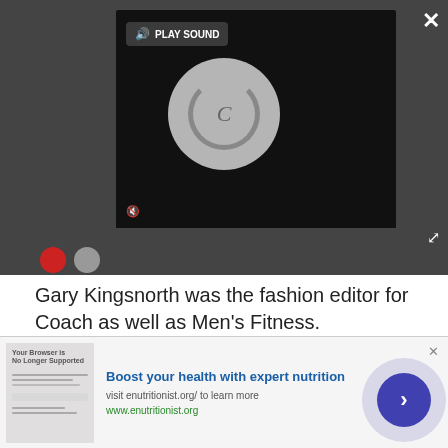[Figure (screenshot): Video player overlay with PLAY SOUND button, loading spinner, mute button, close X, and expand icon on dark background]
Gary Kingsnorth was the fashion editor for Coach as well as Men's Fitness.
MORE ABOUT...
LATEST
[Figure (photo): Landscape thumbnail showing autumn scenery with bridge]
[Figure (photo): Thumbnail showing blue sneakers on grass]
[Figure (screenshot): Advertisement banner: Boost your health with expert nutrition, visit enutritionist.org/ to learn more, www.enutritionist.org]